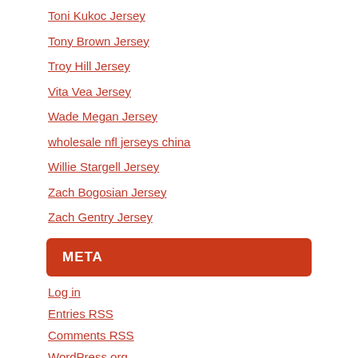Toni Kukoc Jersey
Tony Brown Jersey
Troy Hill Jersey
Vita Vea Jersey
Wade Megan Jersey
wholesale nfl jerseys china
Willie Stargell Jersey
Zach Bogosian Jersey
Zach Gentry Jersey
META
Log in
Entries RSS
Comments RSS
WordPress.org
LINKS
baseball jersey design